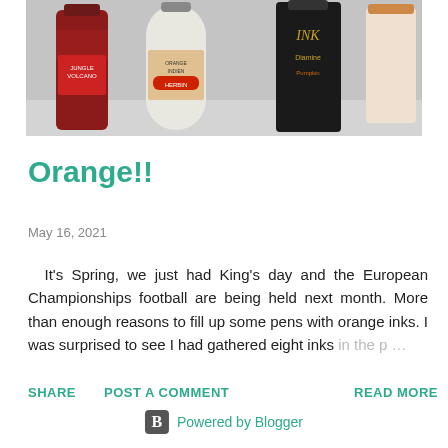[Figure (photo): Photo of several orange ink bottles arranged on a light grey surface, including labels reading 'Jungle Volcano', 'Orange Indien Herbin', and 'Noodler's Pumpkin']
Orange!!
May 16, 2021
It's Spring, we just had King's day and the European Championships football are being held next month. More than enough reasons to fill up some pens with orange inks. I was surprised to see I had gathered eight inks in the p …
SHARE   POST A COMMENT   READ MORE
Powered by Blogger